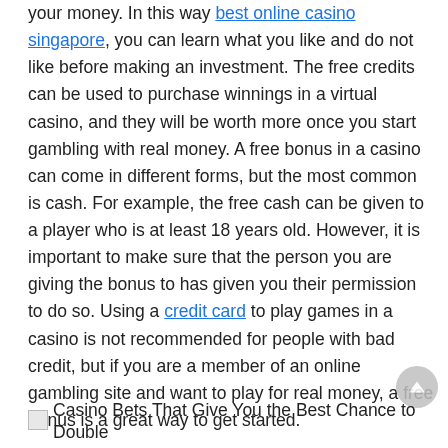your money. In this way best online casino singapore, you can learn what you like and do not like before making an investment. The free credits can be used to purchase winnings in a virtual casino, and they will be worth more once you start gambling with real money. A free bonus in a casino can come in different forms, but the most common is cash. For example, the free cash can be given to a player who is at least 18 years old. However, it is important to make sure that the person you are giving the bonus to has given you their permission to do so. Using a credit card to play games in a casino is not recommended for people with bad credit, but if you are a member of an online gambling site and want to play for real money, a free bonus is a great way to get started.
Casino Bets That Give You the Best Chance to Double